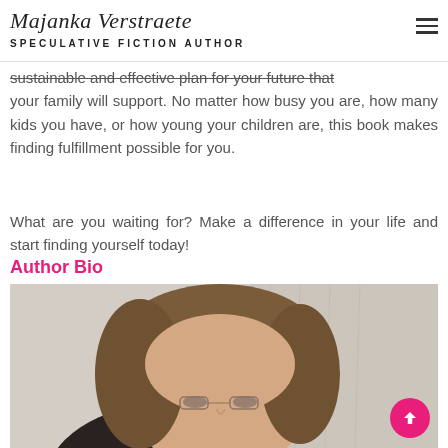Majanka Verstraete — SPECULATIVE FICTION AUTHOR
sustainable and effective plan for your future that your family will support. No matter how busy you are, how many kids you have, or how young your children are, this book makes finding fulfillment possible for you.
What are you waiting for? Make a difference in your life and start finding yourself today!
Author Bio
[Figure (photo): Portrait photo of the author, a woman with medium-length brown hair, partially cropped at the bottom of the page.]